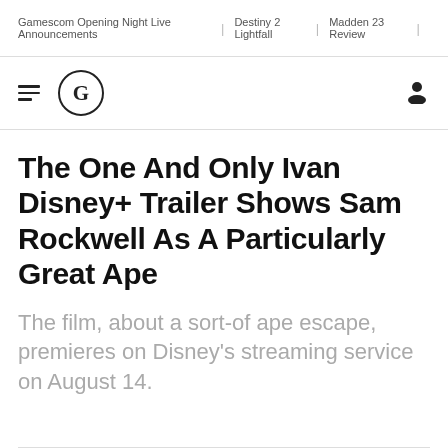Gamescom Opening Night Live Announcements | Destiny 2 Lightfall | Madden 23 Review
[Figure (logo): GameSpot logo: hamburger menu icon and circular G logo with user icon on right]
The One And Only Ivan Disney+ Trailer Shows Sam Rockwell As A Particularly Great Ape
The film, about a sort-of ape escape, premieres on Disney's streaming service on August 14.